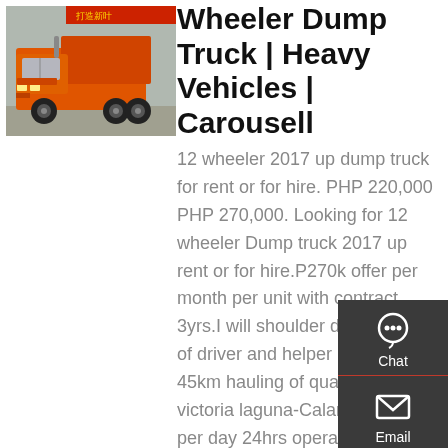[Figure (photo): Orange 12-wheeler dump truck parked outdoors, front-left view, with red banner in background]
Wheeler Dump Truck | Heavy Vehicles | Carousell
12 wheeler 2017 up dump truck for rent or for hire. PHP 220,000 PHP 270,000. Looking for 12 wheeler Dump truck 2017 up rent or for hire.P270k offer per month per unit with contract 3yrs.I will shoulder diesel,salary of driver and helper barracks 45km hauling of quarry/lastillas victoria laguna-Calamba.5-6trips per day 24hrs operation,kindly call or text me if you have on